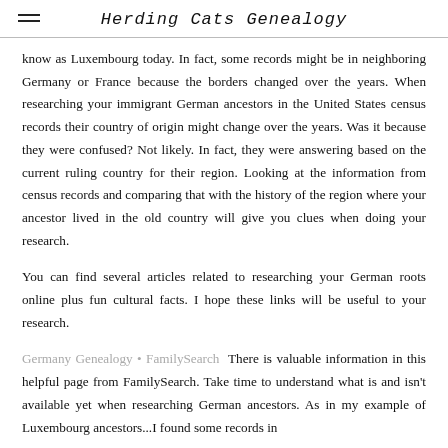Herding Cats Genealogy
know as Luxembourg today. In fact, some records might be in neighboring Germany or France because the borders changed over the years. When researching your immigrant German ancestors in the United States census records their country of origin might change over the years. Was it because they were confused? Not likely. In fact, they were answering based on the current ruling country for their region. Looking at the information from census records and comparing that with the history of the region where your ancestor lived in the old country will give you clues when doing your research.
You can find several articles related to researching your German roots online plus fun cultural facts. I hope these links will be useful to your research.
Germany Genealogy • FamilySearch  There is valuable information in this helpful page from FamilySearch. Take time to understand what is and isn't available yet when researching German ancestors. As in my example of Luxembourg ancestors...I found some records in